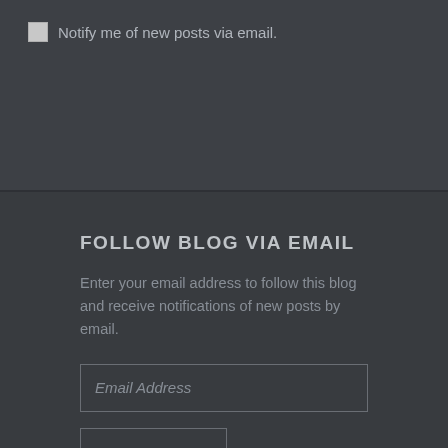Notify me of new posts via email.
FOLLOW BLOG VIA EMAIL
Enter your email address to follow this blog and receive notifications of new posts by email.
Email Address
FOLLOW
Join 6 other followers